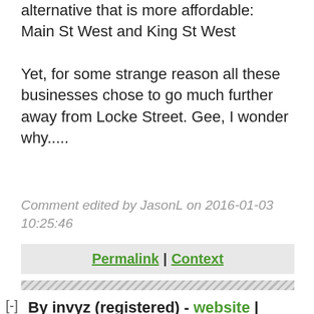alternative that is more affordable:
Main St West and King St West

Yet, for some strange reason all these businesses chose to go much further away from Locke Street. Gee, I wonder why.....
Comment edited by JasonL on 2016-01-03 10:25:46
Permalink | Context
[-]
By invyz (registered) - website | Posted